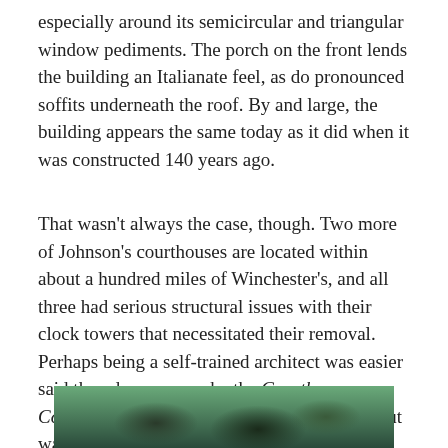especially around its semicircular and triangular window pediments. The porch on the front lends the building an Italianate feel, as do pronounced soffits underneath the roof. By and large, the building appears the same today as it did when it was constructed 140 years ago.
That wasn't always the case, though. Two more of Johnson's courthouses are located within about a hundred miles of Winchester's, and all three had serious structural issues with their clock towers that necessitated their removal. Perhaps being a self-trained architect was easier said than done, or maybe the Courthouse Construction for Dummies book he checked out was missing a few pages.
[Figure (photo): Partial photo of a building or landscape with trees, shown at the bottom of the page, cropped.]